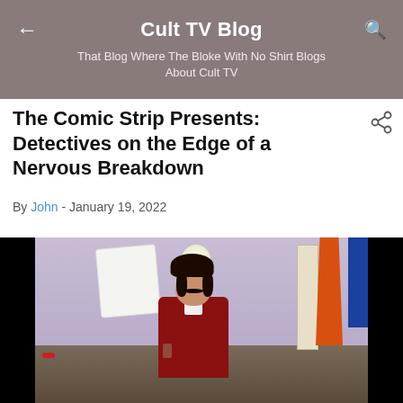Cult TV Blog
That Blog Where The Bloke With No Shirt Blogs About Cult TV
The Comic Strip Presents: Detectives on the Edge of a Nervous Breakdown
By John - January 19, 2022
[Figure (photo): A man with dark hair and mustache wearing a red velvet jacket, holding a glass, standing in a room with colourful items on shelves and hanging on the wall.]